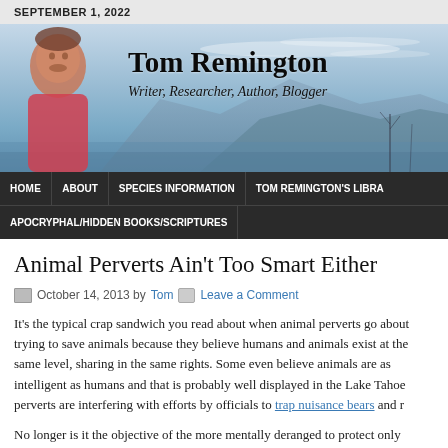SEPTEMBER 1, 2022
[Figure (photo): Blog header banner with photo of Tom Remington (man in pink shirt) on left, mountain/lake landscape background, with site title 'Tom Remington' and subtitle 'Writer, Researcher, Author, Blogger']
HOME | ABOUT | SPECIES INFORMATION | TOM REMINGTON'S LIBRA... | APOCRYPHAL/HIDDEN BOOKS/SCRIPTURES
Animal Perverts Ain't Too Smart Either
October 14, 2013 by Tom  Leave a Comment
It's the typical crap sandwich you read about when animal perverts go about trying to save animals because they believe humans and animals exist at the same level, sharing in the same rights. Some even believe animals are as intelligent as humans and that is probably well displayed in the Lake Tahoe perverts are interfering with efforts by officials to trap nuisance bears and r
No longer is it the objective of the more mentally deranged to protect only...